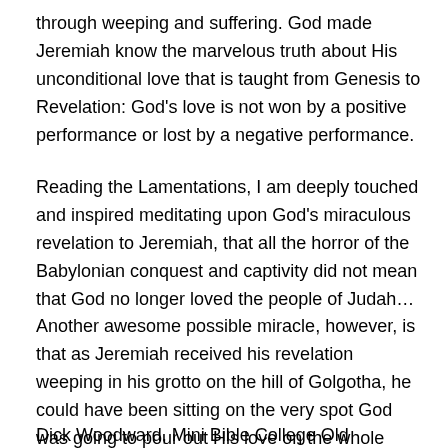through weeping and suffering. God made Jeremiah know the marvelous truth about His unconditional love that is taught from Genesis to Revelation: God's love is not won by a positive performance or lost by a negative performance.
Reading the Lamentations, I am deeply touched and inspired meditating upon God's miraculous revelation to Jeremiah, that all the horror of the Babylonian conquest and captivity did not mean that God no longer loved the people of Judah… Another awesome possible miracle, however, is that as Jeremiah received his revelation weeping in his grotto on the hill of Golgotha, he could have been sitting on the very spot God was going to pour out His love on the whole world.
Dick Woodward, Mini Bible College Old Testament